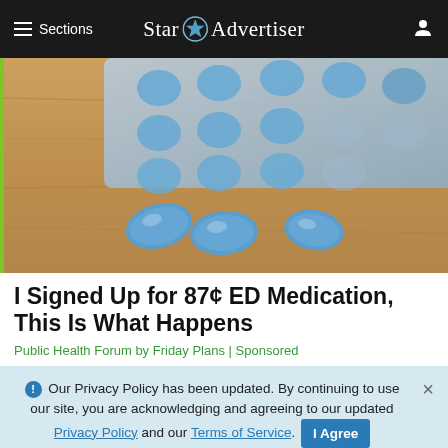≡ Sections   Star Advertiser
[Figure (photo): Blue ED medication pills on a wooden surface with a blister pack in the background]
I Signed Up for 87¢ ED Medication, This Is What Happens
Public Health Forum by Friday Plans | Sponsored
Our Privacy Policy has been updated. By continuing to use our site, you are acknowledging and agreeing to our updated Privacy Policy and our Terms of Service. I Agree